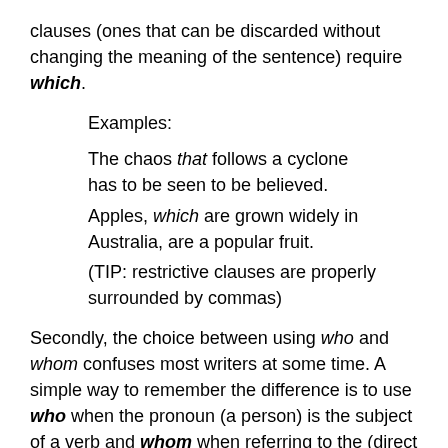clauses (ones that can be discarded without changing the meaning of the sentence) require which.
Examples:
The chaos that follows a cyclone has to be seen to be believed.
Apples, which are grown widely in Australia, are a popular fruit.
(TIP: restrictive clauses are properly surrounded by commas)
Secondly, the choice between using who and whom confuses most writers at some time. A simple way to remember the difference is to use who when the pronoun (a person) is the subject of a verb and whom when referring to the (direct or indirect) object of a